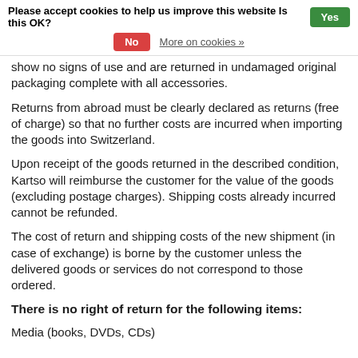Please accept cookies to help us improve this website Is this OK? Yes No More on cookies »
show no signs of use and are returned in undamaged original packaging complete with all accessories.
Returns from abroad must be clearly declared as returns (free of charge) so that no further costs are incurred when importing the goods into Switzerland.
Upon receipt of the goods returned in the described condition, Kartso will reimburse the customer for the value of the goods (excluding postage charges). Shipping costs already incurred cannot be refunded.
The cost of return and shipping costs of the new shipment (in case of exchange) is borne by the customer unless the delivered goods or services do not correspond to those ordered.
There is no right of return for the following items:
Media (books, DVDs, CDs)